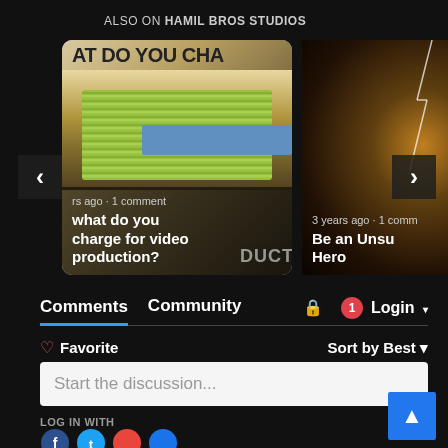ALSO ON HAMIL BROS STUDIOS
[Figure (screenshot): Two promotional content cards from Hamil Bros Studios. Left card shows a photo of bundled US dollar bills with overlaid text 'What do you charge for video production?' and meta 'rs ago · 1 comment'. Right card shows a dark lightning/dramatic photo with overlaid text 'Be an Unsung Hero' and meta '3 years ago · 1 comm'. Navigation arrows on left and right sides.]
Comments  Community  🔒  1  Login ▾
♡ Favorite  Sort by Best ▾
Start the discussion...
LOG IN WITH